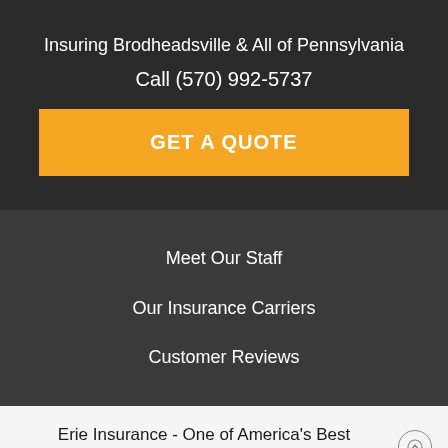Insuring Brodheadsville & All of Pennsylvania
Call (570) 992-5737
GET A QUOTE
Meet Our Staff
Our Insurance Carriers
Customer Reviews
Erie Insurance - One of America's Best Insurance Companies